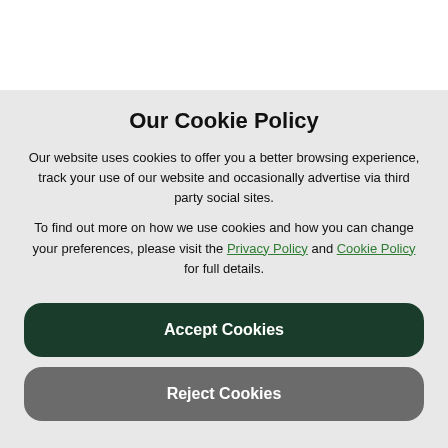Our Cookie Policy
Our website uses cookies to offer you a better browsing experience, track your use of our website and occasionally advertise via third party social sites.
To find out more on how we use cookies and how you can change your preferences, please visit the Privacy Policy and Cookie Policy for full details.
Accept Cookies
Reject Cookies